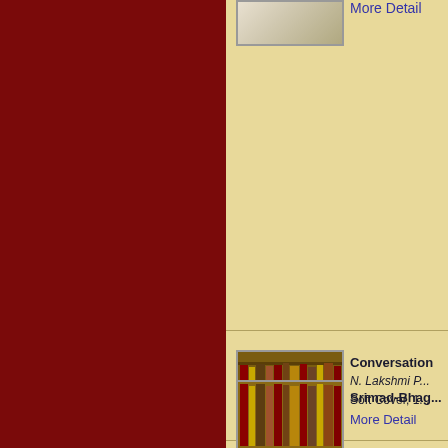[Figure (photo): Book image at top (partial, cropped at top)]
More Detail
[Figure (photo): Library bookshelf with open book in foreground]
Conversation
N. Lakshmi P...
Soft Cover, 1...
More Detail
[Figure (photo): Srimad-Bhag... book image (partial, cropped at bottom)]
Srimad-Bhag...